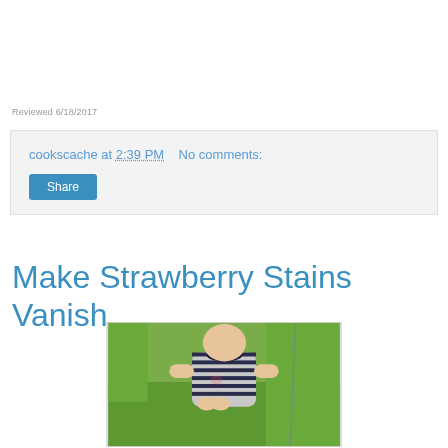Reviewed 6/18/2017
cookscache at 2:39 PM    No comments:
Share
Make Strawberry Stains Vanish
[Figure (photo): Young child wearing a striped navy/white t-shirt, standing outdoors with greenery in the background, hands clasped together.]